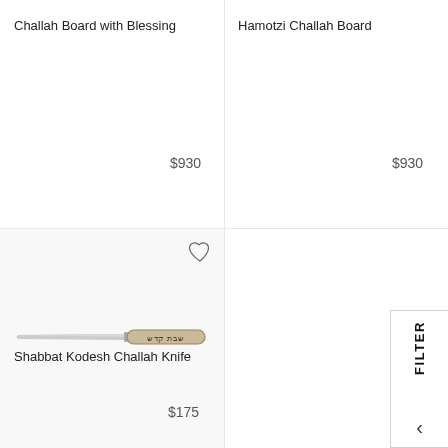Challah Board with Blessing
Hamotzi Challah Board
$930
$930
[Figure (photo): A challah knife with a silver blade and a beige decorative handle inscribed with Hebrew text (Shabbat Kodesh). The knife is shown horizontally against a light background.]
Shabbat Kodesh Challah Knife
$175